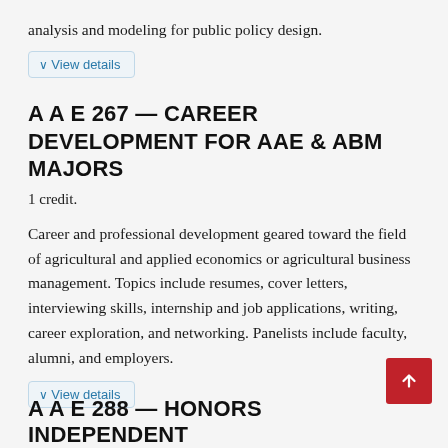analysis and modeling for public policy design.
∨ View details
A A E 267 — CAREER DEVELOPMENT FOR AAE & ABM MAJORS
1 credit.
Career and professional development geared toward the field of agricultural and applied economics or agricultural business management. Topics include resumes, cover letters, interviewing skills, internship and job applications, writing, career exploration, and networking. Panelists include faculty, alumni, and employers.
∨ View details
A A E 288 — HONORS INDEPENDENT